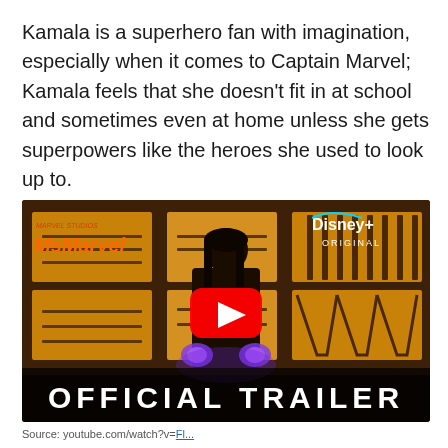Kamala is a superhero fan with imagination, especially when it comes to Captain Marvel; Kamala feels that she doesn't fit in at school and sometimes even at home unless she gets superpowers like the heroes she used to look up to.
[Figure (screenshot): YouTube video thumbnail for Ms. Marvel Official Trailer on Disney+. Shows a young woman in a dark room with a weapons display case behind her, holding glowing energy in her hands. A large red YouTube play button is centered on the image. 'Ms Marvel' logo is in the top left, 'Disney+ ORIGINAL' logo in the top right. 'OFFICIAL TRAILER' text appears at the bottom in large white bold letters.]
Source: youtube.com/watch?v=...